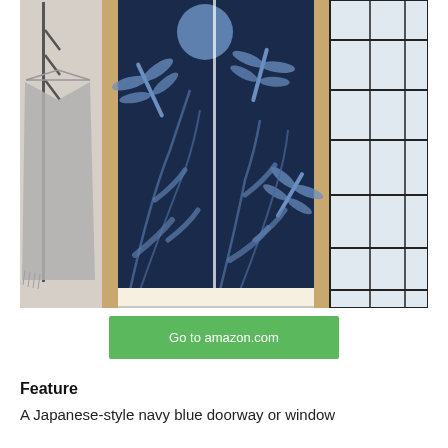[Figure (photo): A Japanese-style noren (doorway curtain) with navy blue background featuring dragonflies and grass/reed motifs in light blue, hanging in a wooden door frame. To the left is a coat rack with a grey garment; to the right is a shoji screen panel with black grid framing.]
Go to amazon.com
Feature
A Japanese-style navy blue doorway or window